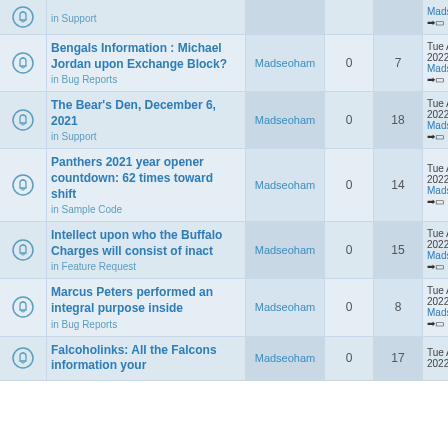|  | Topic | Author | Replies | Views | Last post |
| --- | --- | --- | --- | --- | --- |
| [icon] | in Support | Madseoham |  |  | Madseoham → |
| [icon] | Bengals Information : Michael Jordan upon Exchange Block?
in Bug Reports | Madseoham | 0 | 7 | Tue Aug 30 2022 2:02 a
Madseoham → |
| [icon] | The Bear's Den, December 6, 2021
in Support | Madseoham | 0 | 18 | Tue Aug 30 2022 2:01 a
Madseoham → |
| [icon] | Panthers 2021 year opener countdown: 62 times toward shift
in Sample Code | Madseoham | 0 | 14 | Tue Aug 30 2022 1:59 a
Madseoham → |
| [icon] | Intellect upon who the Buffalo Charges will consist of inact
in Feature Request | Madseoham | 0 | 15 | Tue Aug 30 2022 1:57 a
Madseoham → |
| [icon] | Marcus Peters performed an integral purpose inside
in Bug Reports | Madseoham | 0 | 8 | Tue Aug 30 2022 1:56 a
Madseoham → |
| [icon] | Falcoholinks: All the Falcons information your
in | Madseoham | 0 | 17 | Tue Aug 30 2022 1:55 a |